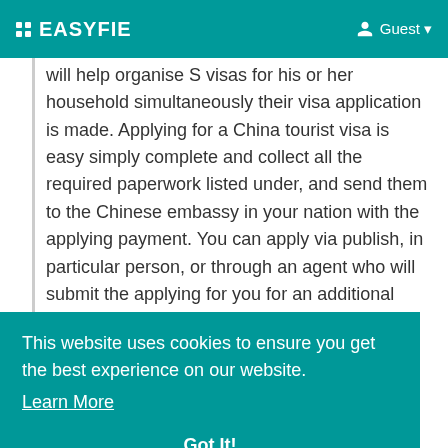EASYFIE   Guest
will help organise S visas for his or her household simultaneously their visa application is made. Applying for a China tourist visa is easy simply complete and collect all the required paperwork listed under, and send them to the Chinese embassy in your nation with the applying payment. You can apply via publish, in particular person, or through an agent who will submit the applying for you for an additional charge.
This website uses cookies to ensure you get the best experience on our website. Learn More Got It!
China Visa Service
Applicants will be informed on their appointment